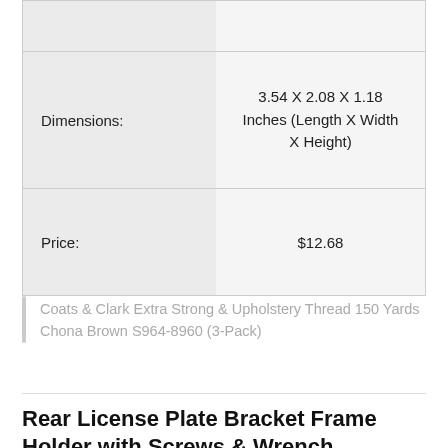| Dimensions: | 3.54 X 2.08 X 1.18 Inches (Length X Width X Height) |
| Price: | $12.68 |
Coats & Clark Extra Strong & Upholstery Thread 150 Yards Chona Brown S964-8960 (3-Pack)
Rear License Plate Bracket Frame Holder with Screws & Wrench Compatible for BMW 1/2/3/4/5 Series X5 X6 328i 330i 535i 51187160607/51188238061/51188238061 5/681S